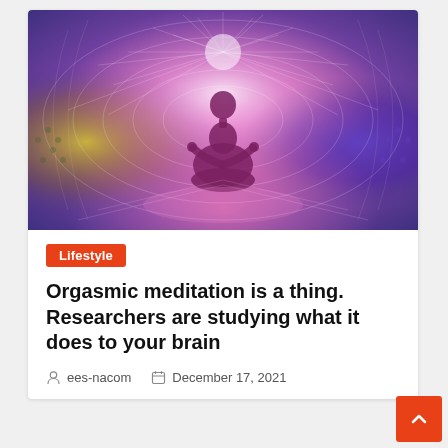[Figure (illustration): A colorful psychedelic illustration of a person sitting in a lotus meditation pose, surrounded by radiant energy, geometric patterns, and concentric circles in purple, pink, gold, and green hues.]
Lifestyle
Orgasmic meditation is a thing. Researchers are studying what it does to your brain
ees-nacom   December 17, 2021